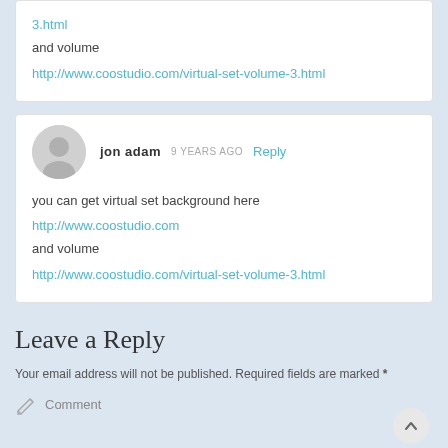3.html
and volume
http://www.coostudio.com/virtual-set-volume-3.html
jon adam  9 YEARS AGO  Reply
you can get virtual set background here
http://www.coostudio.com
and volume
http://www.coostudio.com/virtual-set-volume-3.html
Leave a Reply
Your email address will not be published. Required fields are marked *
Comment